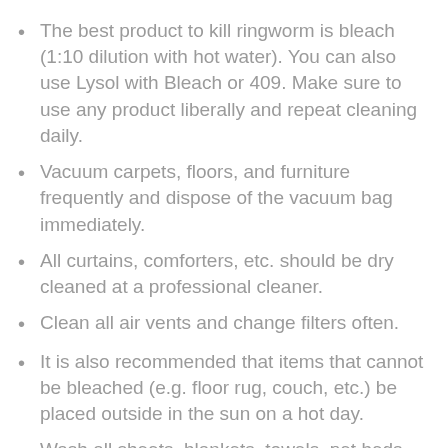The best product to kill ringworm is bleach (1:10 dilution with hot water). You can also use Lysol with Bleach or 409. Make sure to use any product liberally and repeat cleaning daily.
Vacuum carpets, floors, and furniture frequently and dispose of the vacuum bag immediately.
All curtains, comforters, etc. should be dry cleaned at a professional cleaner.
Clean all air vents and change filters often.
It is also recommended that items that cannot be bleached (e.g. floor rug, couch, etc.) be placed outside in the sun on a hot day.
Wash all sheets, blankets, towels, pet beds, plush toys, pet brushes, etc., bleaching items when possible.
Throw away anything that cannot be fully cleaned.